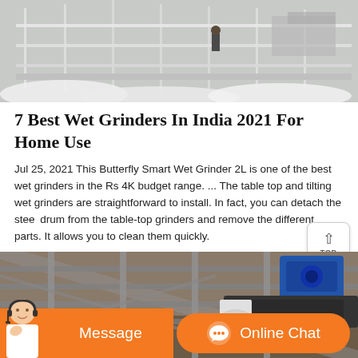[Figure (photo): Aerial view of an industrial facility with metal railings, walkways, and a person standing on a platform surrounded by white powdery material.]
7 Best Wet Grinders In India 2021 For Home Use
Jul 25, 2021 This Butterfly Smart Wet Grinder 2L is one of the best wet grinders in the Rs 4K budget range. ... The table top and tilting wet grinders are straightforward to install. In fact, you can detach the steel drum from the table-top grinders and remove the different parts. It allows you to clean them quickly.
[Figure (photo): Industrial conveyor belt or screening equipment with metal frame, railings, and a blue motor visible, set outdoors.]